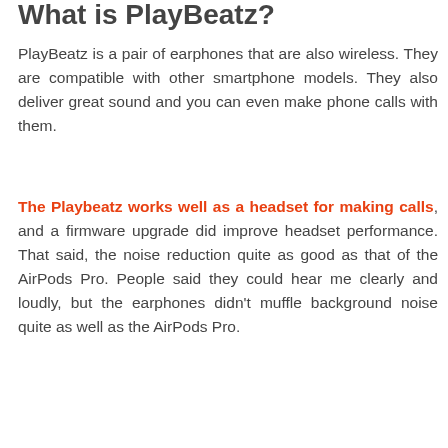What is PlayBeatz?
PlayBeatz is a pair of earphones that are also wireless. They are compatible with other smartphone models. They also deliver great sound and you can even make phone calls with them.
The Playbeatz works well as a headset for making calls, and a firmware upgrade did improve headset performance. That said, the noise reduction quite as good as that of the AirPods Pro. People said they could hear me clearly and loudly, but the earphones didn't muffle background noise quite as well as the AirPods Pro.